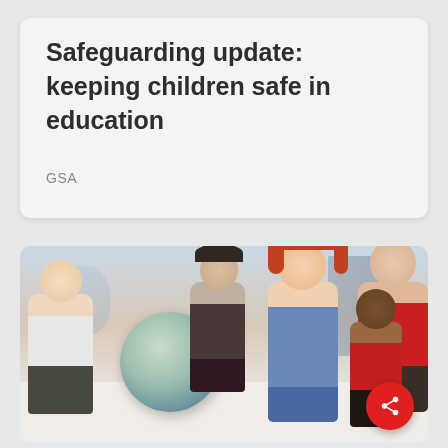Safeguarding update: keeping children safe in education
GSA
[Figure (photo): A female teacher with red hair and a group of children sitting on the floor around a globe in a classroom setting.]